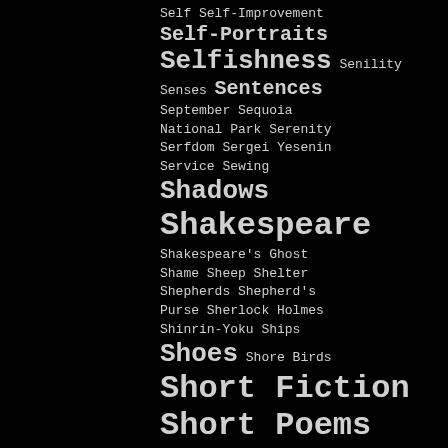Self Self-Improvement
Self-Portraits
Selfishness Senility
Senses Sentences
September Sequoia
National Park Serenity
Serfdom Sergei Yesenin
Service Sewing
Shadows
Shakespeare
Shakespeare's Ghost
Shame Sheep Shelter
Shepherds Shepherd's Purse
Sherlock Holmes
Shinrin-Yoku Ships
Shoes Shore Birds
Short Fiction
Short Poems
Short Stories
Shovels Shwittl
Sidewalks
Silence Silk Trees
Silliness Silver